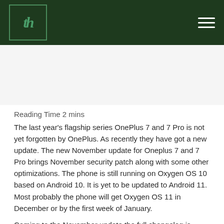th (logo) | hamburger menu
[Figure (other): Advertisement / blank ad space area]
Reading Time 2 mins
The last year's flagship series OnePlus 7 and 7 Pro is not yet forgotten by OnePlus. As recently they have got a new update. The new November update for Oneplus 7 and 7 Pro brings November security patch along with some other optimizations. The phone is still running on Oxygen OS 10 based on Android 10. It is yet to be updated to Android 11. Most probably the phone will get Oxygen OS 11 in December or by the first week of January.
Coming to the November update the full changelog is